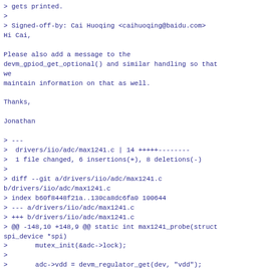> gets printed.
>
> Signed-off-by: Cai Huoqing <caihuoqing@baidu.com>
Hi Cai,

Please also add a message to the
devm_gpiod_get_optional() and similar handling so that we
maintain information on that as well.

Thanks,

Jonathan

> ---
>  drivers/iio/adc/max1241.c | 14 +++++--------
>  1 file changed, 6 insertions(+), 8 deletions(-)
>
> diff --git a/drivers/iio/adc/max1241.c b/drivers/iio/adc/max1241.c
> index b60f8448f21a..130ca8dc6fa0 100644
> --- a/drivers/iio/adc/max1241.c
> +++ b/drivers/iio/adc/max1241.c
> @@ -148,10 +148,9 @@ static int max1241_probe(struct spi_device *spi)
>  	mutex_init(&adc->lock);
> 
>  	adc->vdd = devm_regulator_get(dev, "vdd");
> -	if (IS_ERR(adc->vdd)) {
> -		dev_err(dev, "failed to get vdd